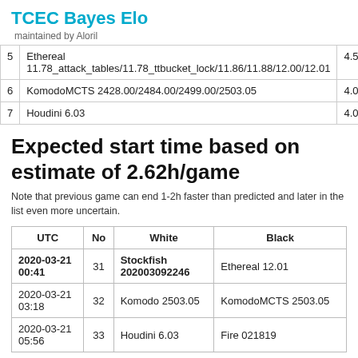TCEC Bayes Elo
maintained by Aloril
|  | Engine | Value |
| --- | --- | --- |
| 5 | Ethereal
11.78_attack_tables/11.78_ttbucket_lock/11.86/11.88/12.00/12.01 | 4.5 |
| 6 | KomodoMCTS 2428.00/2484.00/2499.00/2503.05 | 4.0 |
| 7 | Houdini 6.03 | 4.0 |
Expected start time based on estimate of 2.62h/game
Note that previous game can end 1-2h faster than predicted and later in the list even more uncertain.
| UTC | No | White | Black |
| --- | --- | --- | --- |
| 2020-03-21 00:41 | 31 | Stockfish 202003092246 | Ethereal 12.01 |
| 2020-03-21 03:18 | 32 | Komodo 2503.05 | KomodoMCTS 2503.05 |
| 2020-03-21 05:56 | 33 | Houdini 6.03 | Fire 021819 |